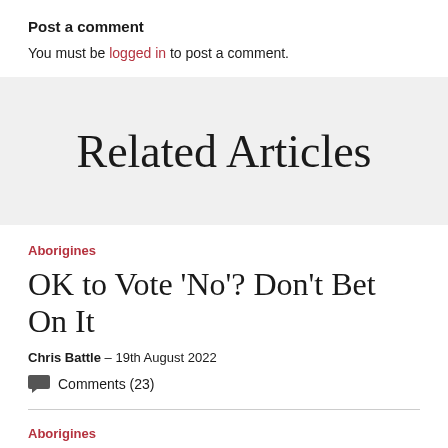Post a comment
You must be logged in to post a comment.
Related Articles
Aborigines
OK to Vote ‘No’? Don’t Bet On It
Chris Battle – 19th August 2022
Comments (23)
Aborigines